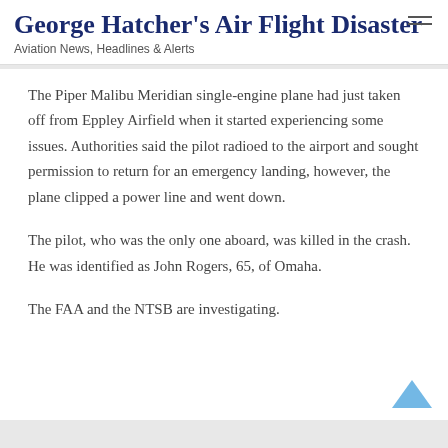George Hatcher's Air Flight Disaster
Aviation News, Headlines & Alerts
The Piper Malibu Meridian single-engine plane had just taken off from Eppley Airfield when it started experiencing some issues. Authorities said the pilot radioed to the airport and sought permission to return for an emergency landing, however, the plane clipped a power line and went down.
The pilot, who was the only one aboard, was killed in the crash. He was identified as John Rogers, 65, of Omaha.
The FAA and the NTSB are investigating.